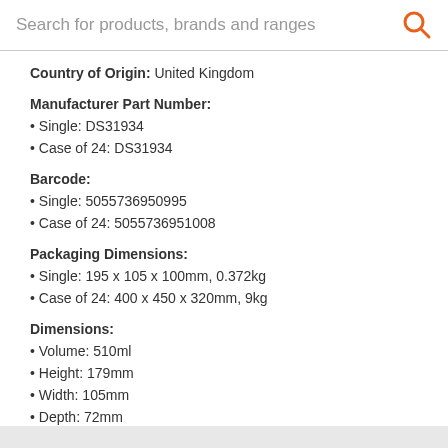Search for products, brands and ranges
Country of Origin: United Kingdom
Manufacturer Part Number:
Single: DS31934
Case of 24: DS31934
Barcode:
Single: 5055736950995
Case of 24: 5055736951008
Packaging Dimensions:
Single: 195 x 105 x 100mm, 0.372kg
Case of 24: 400 x 450 x 320mm, 9kg
Dimensions:
Volume: 510ml
Height: 179mm
Width: 105mm
Depth: 72mm
Weight: 272g
Diameter: 72mm